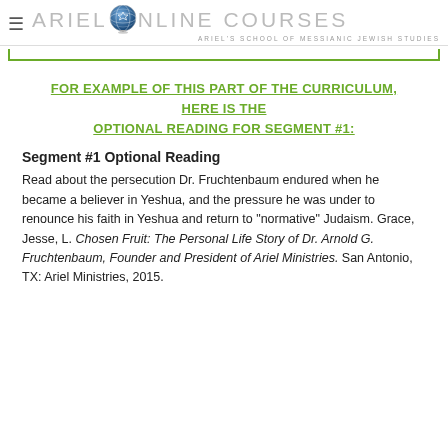≡ ARIEL ONLINE COURSES — ARIEL'S SCHOOL OF MESSIANIC JEWISH STUDIES
FOR EXAMPLE OF THIS PART OF THE CURRICULUM, HERE IS THE OPTIONAL READING FOR SEGMENT #1:
Segment #1 Optional Reading
Read about the persecution Dr. Fruchtenbaum endured when he became a believer in Yeshua, and the pressure he was under to renounce his faith in Yeshua and return to "normative" Judaism. Grace, Jesse, L. Chosen Fruit: The Personal Life Story of Dr. Arnold G. Fruchtenbaum, Founder and President of Ariel Ministries. San Antonio, TX: Ariel Ministries, 2015.